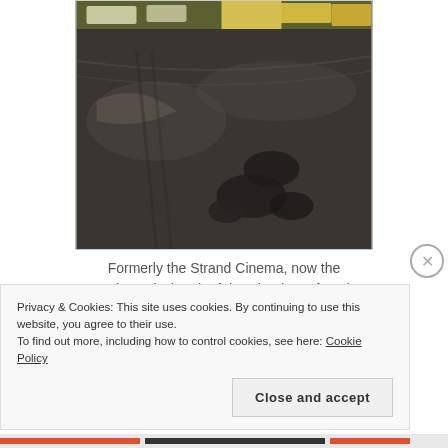[Figure (photo): Street-level photograph showing an asphalt road with potholes and water stains. In the background there are parked cars and a yellow building visible at the top.]
Formerly the Strand Cinema, now the Universal Church of the Kingdom of God
Privacy & Cookies: This site uses cookies. By continuing to use this website, you agree to their use.
To find out more, including how to control cookies, see here: Cookie Policy
Close and accept